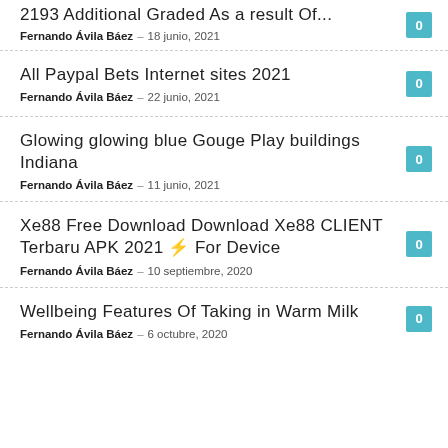2193 Additional Graded As a result Of...
Fernando Ávila Báez – 18 junio, 2021 · 0
All Paypal Bets Internet sites 2021
Fernando Ávila Báez – 22 junio, 2021 · 0
Glowing glowing blue Gouge Play buildings Indiana
Fernando Ávila Báez – 11 junio, 2021 · 0
Xe88 Free Download Download Xe88 CLIENT Terbaru APK 2021 ⚡ For Device
Fernando Ávila Báez – 10 septiembre, 2020 · 0
Wellbeing Features Of Taking in Warm Milk
Fernando Ávila Báez – 6 octubre, 2020 · 0